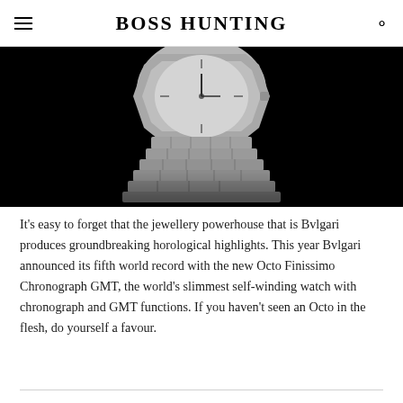BOSS HUNTING
[Figure (photo): Close-up photograph of a luxury watch (Bvlgari Octo Finissimo) on a black background, showing the bracelet and lower case detail in silver/grey tones]
It's easy to forget that the jewellery powerhouse that is Bvlgari produces groundbreaking horological highlights. This year Bvlgari announced its fifth world record with the new Octo Finissimo Chronograph GMT, the world's slimmest self-winding watch with chronograph and GMT functions. If you haven't seen an Octo in the flesh, do yourself a favour.